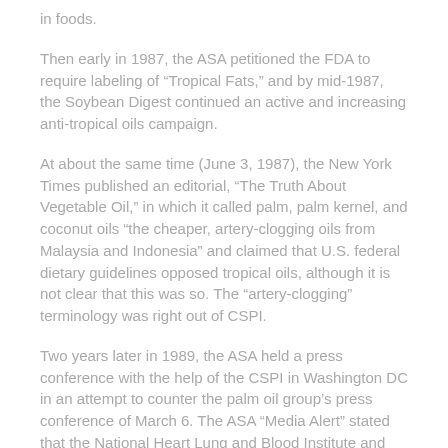in foods.
Then early in 1987, the ASA petitioned the FDA to require labeling of “Tropical Fats,” and by mid-1987, the Soybean Digest continued an active and increasing anti-tropical oils campaign.
At about the same time (June 3, 1987), the New York Times published an editorial, “The Truth About Vegetable Oil,” in which it called palm, palm kernel, and coconut oils “the cheaper, artery-clogging oils from Malaysia and Indonesia” and claimed that U.S. federal dietary guidelines opposed tropical oils, although it is not clear that this was so. The “artery-clogging” terminology was right out of CSPI.
Two years later in 1989, the ASA held a press conference with the help of the CSPI in Washington DC in an attempt to counter the palm oil group’s press conference of March 6. The ASA “Media Alert” stated that the National Heart Lung and Blood Institute and National Research Council “recommend consumers avoid palm, palm kernel